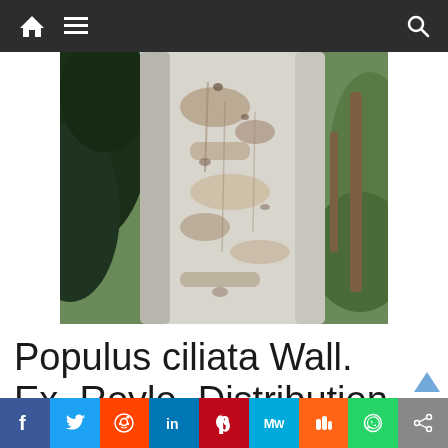Navigation bar with home, menu, and search icons
[Figure (photo): Close-up photograph of a pale white-grey tree trunk (Populus ciliata) with dark patches and peeling bark, surrounded by green foliage in the background]
Populus ciliata Wall. Ex. Royle. Distribution
The tree is native to the Subcontinent, North and
Social share bar: Facebook, Twitter, Reddit, LinkedIn, Pinterest, MeWe, Mix, WhatsApp, Share